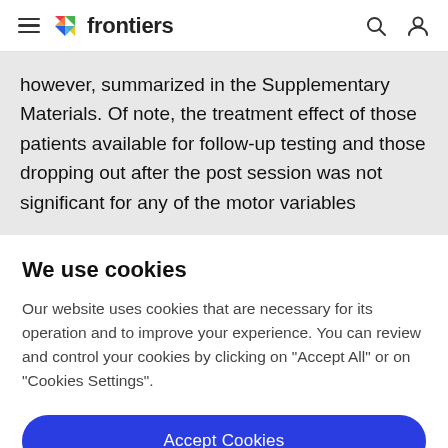frontiers
however, summarized in the Supplementary Materials. Of note, the treatment effect of those patients available for follow-up testing and those dropping out after the post session was not significant for any of the motor variables
We use cookies
Our website uses cookies that are necessary for its operation and to improve your experience. You can review and control your cookies by clicking on "Accept All" or on "Cookies Settings".
Accept Cookies
Cookies Settings